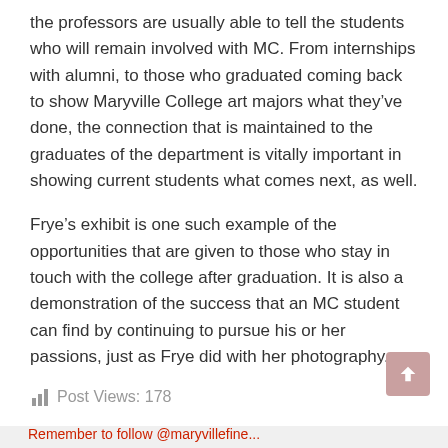the professors are usually able to tell the students who will remain involved with MC. From internships with alumni, to those who graduated coming back to show Maryville College art majors what they've done, the connection that is maintained to the graduates of the department is vitally important in showing current students what comes next, as well.
Frye's exhibit is one such example of the opportunities that are given to those who stay in touch with the college after graduation. It is also a demonstration of the success that an MC student can find by continuing to pursue his or her passions, just as Frye did with her photography.
Post Views: 178
Remember to follow @maryvillefine...